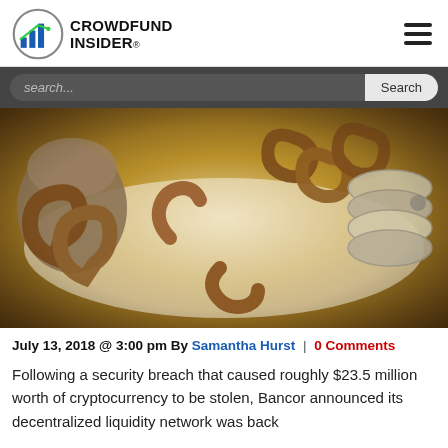CROWDFUND INSIDER
[Figure (photo): Close-up photo of broken chain links and a padlock on a white surface, suggesting a security breach or unlocking.]
July 13, 2018 @ 3:00 pm By Samantha Hurst | 0 Comments
Following a security breach that caused roughly $23.5 million worth of cryptocurrency to be stolen, Bancor announced its decentralized liquidity network was back